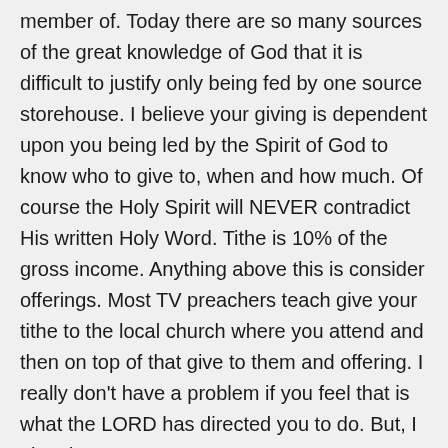member of. Today there are so many sources of the great knowledge of God that it is difficult to justify only being fed by one source storehouse. I believe your giving is dependent upon you being led by the Spirit of God to know who to give to, when and how much. Of course the Holy Spirit will NEVER contradict His written Holy Word. Tithe is 10% of the gross income. Anything above this is consider offerings. Most TV preachers teach give your tithe to the local church where you attend and then on top of that give to them and offering. I really don't have a problem if you feel that is what the LORD has directed you to do. But, I also do not